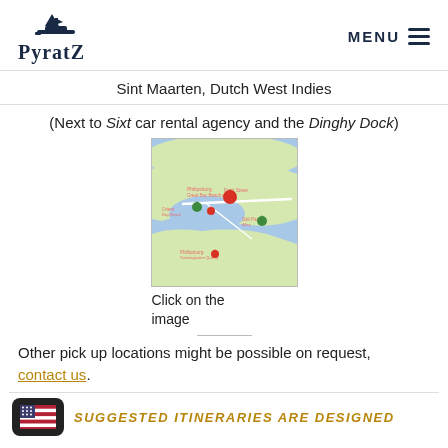PyratZ MENU
Sint Maarten, Dutch West Indies
(Next to Sixt car rental agency and the Dinghy Dock)
[Figure (map): Google Maps screenshot showing Sint Maarten area with a red location pin marker near Port de Plaisance / Simpson Bay area, and green markers for other locations.]
Click on the image
Other pick up locations might be possible on request, contact us.
[Figure (other): US flag icon button and partial gold italic text reading 'SUGGESTED ITINERARIES ARE DESIGNED']